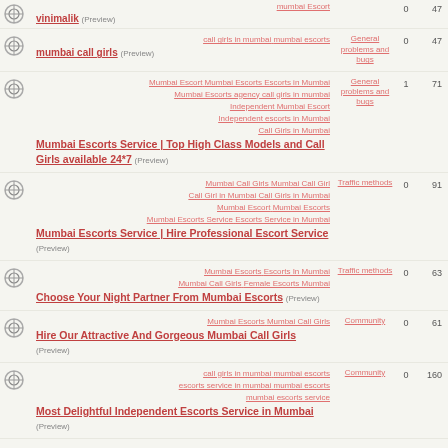vinimalik (Preview) | mumbai Escort | 0 | 47
Mumbai Escort Mumbai Escorts Escorts in Mumbai Mumbai Escorts agency call girls in mumbai Independent Mumbai Escort Independent escorts in Mumbai Call Girls in Mumbai | Mumbai Escorts Service | Top High Class Models and Call Girls available 24*7 (Preview) | General problems and bugs | 1 | 71
Mumbai Call Girls Mumbai Call Girl Call Girl in Mumbai Call Girls in Mumbai Mumbai Escort Mumbai Escorts Mumbai Escorts Service Escorts Service in Mumbai | Mumbai Escorts Service | Hire Professional Escort Service (Preview) | Traffic methods | 0 | 91
Mumbai Escorts Escorts In Mumbai Mumbai Call Girls Female Escorts Mumbai | Choose Your Night Partner From Mumbai Escorts (Preview) | Traffic methods | 0 | 63
Hire Our Mumbai Escorts Mumbai Call Girls Attractive And Gorgeous Mumbai Call Girls (Preview) | Community | 0 | 61
call girls in mumbai mumbai escorts escorts service in mumbai mumbai escorts mumbai escorts service | Most Delightful Independent Escorts Service in Mumbai (Preview) | Community | 0 | 160